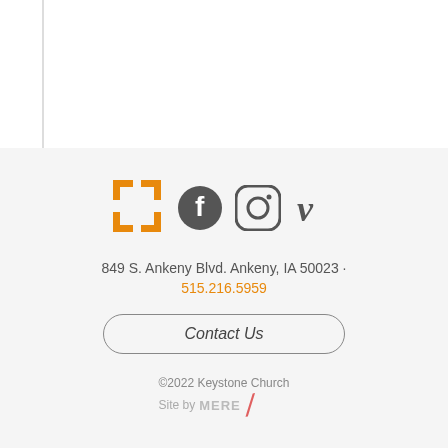[Figure (logo): Keystone Church logo (orange bracket/frame icon) alongside Facebook, Instagram, and Vimeo social media icons]
849 S. Ankeny Blvd. Ankeny, IA 50023 · 515.216.5959
Contact Us
©2022 Keystone Church
Site by MERE /